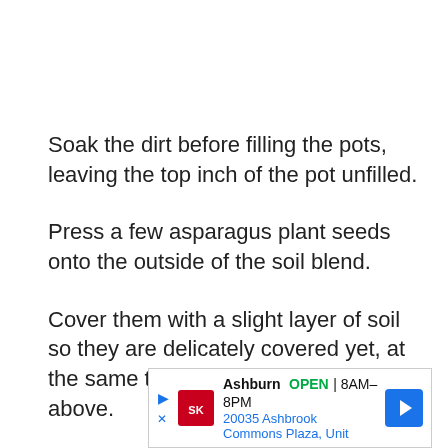Soak the dirt before filling the pots, leaving the top inch of the pot unfilled.
Press a few asparagus plant seeds onto the outside of the soil blend.
Cover them with a slight layer of soil so they are delicately covered yet, at the same time, can be seen from above.
[Figure (other): Advertisement banner for Smoothie King in Ashburn, showing OPEN 8AM-8PM and address 20035 Ashbrook Commons Plaza, Unit, with a blue navigation arrow icon.]